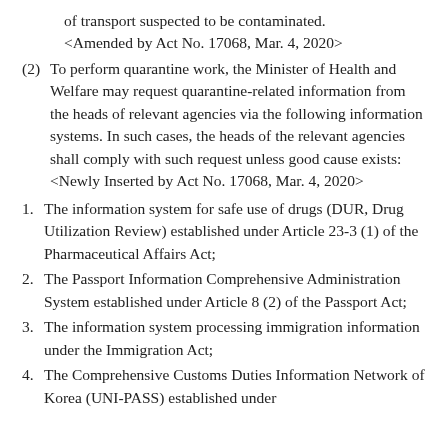of transport suspected to be contaminated. <Amended by Act No. 17068, Mar. 4, 2020>
(2)To perform quarantine work, the Minister of Health and Welfare may request quarantine-related information from the heads of relevant agencies via the following information systems. In such cases, the heads of the relevant agencies shall comply with such request unless good cause exists: <Newly Inserted by Act No. 17068, Mar. 4, 2020>
1.The information system for safe use of drugs (DUR, Drug Utilization Review) established under Article 23-3 (1) of the Pharmaceutical Affairs Act;
2.The Passport Information Comprehensive Administration System established under Article 8 (2) of the Passport Act;
3.The information system processing immigration information under the Immigration Act;
4.The Comprehensive Customs Duties Information Network of Korea (UNI-PASS) established under